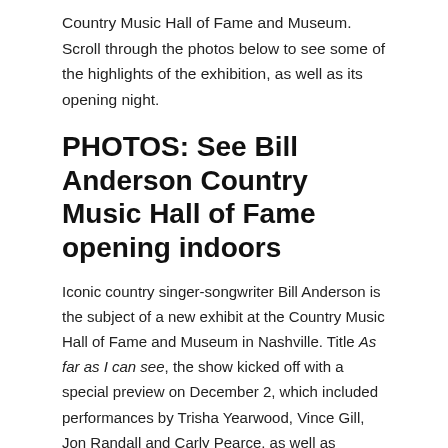Country Music Hall of Fame and Museum. Scroll through the photos below to see some of the highlights of the exhibition, as well as its opening night.
PHOTOS: See Bill Anderson Country Music Hall of Fame opening indoors
Iconic country singer-songwriter Bill Anderson is the subject of a new exhibit at the Country Music Hall of Fame and Museum in Nashville. Title As far as I can see, the show kicked off with a special preview on December 2, which included performances by Trisha Yearwood, Vince Gill, Jon Randall and Carly Pearce, as well as remarks by Anderson himself. The exhibition includes musical instruments, pictures, stage clothing, handwritten lyrics and other artefacts from his entire career, and is scheduled to run until March 19, 2023.
Related Posts:
'Hamilton' performance in Dallas canceled due to COVID